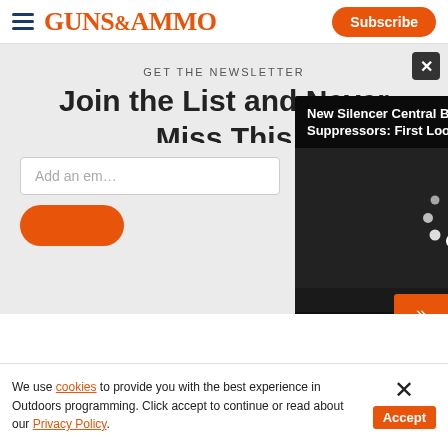GUNS&AMMO | Subscribe
GET THE NEWSLETTER
Join the List and Never Miss This
Add an email address
[Figure (screenshot): Video player showing 'New Silencer Central Banish 46 and 338 Suppressors: First Look' with loading spinner, mute button, and controls showing 00:00 / 04:08]
We use cookies to provide you with the best experience in Outdoors programming. Click accept to continue or read about our Privacy Policy.